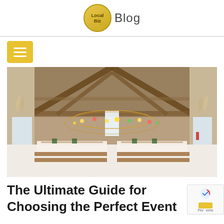Local Biz Blog
[Figure (photo): Interior of a barn-style event venue with wooden beam ceiling, string lights hanging from rafters, long banquet tables set with white tablecloths and decorations, and pampas grass arrangements along the walls]
The Ultimate Guide for Choosing the Perfect Event